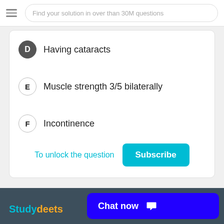Find your solution in over than 30M questions
D  Having cataracts
E  Muscle strength 3/5 bilaterally
F  Incontinence
To unlock the question  Subscribe
Studydeets  Chat now